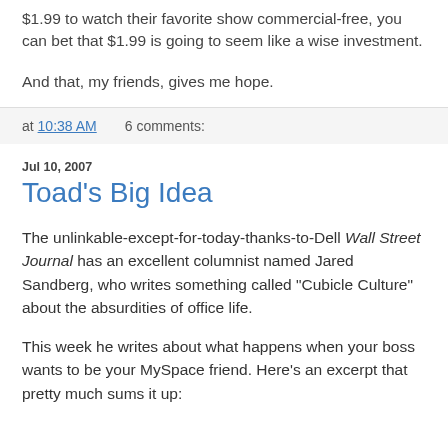$1.99 to watch their favorite show commercial-free, you can bet that $1.99 is going to seem like a wise investment.
And that, my friends, gives me hope.
at 10:38 AM   6 comments:
Jul 10, 2007
Toad's Big Idea
The unlinkable-except-for-today-thanks-to-Dell Wall Street Journal has an excellent columnist named Jared Sandberg, who writes something called "Cubicle Culture" about the absurdities of office life.
This week he writes about what happens when your boss wants to be your MySpace friend. Here's an excerpt that pretty much sums it up: